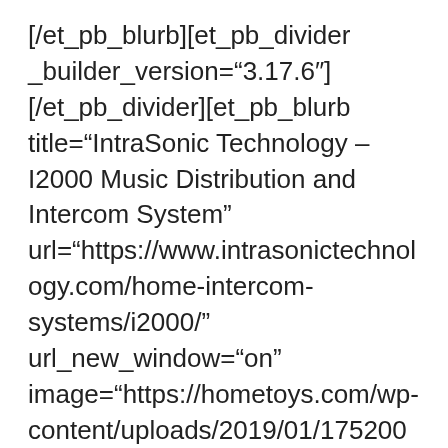[/et_pb_blurb][et_pb_divider _builder_version="3.17.6"] [/et_pb_divider][et_pb_blurb title="IntraSonic Technology – I2000 Music Distribution and Intercom System" url="https://www.intrasonictechnology.com/home-intercom-systems/i2000/" url_new_window="on" image="https://hometoys.com/wp-content/uploads/2019/01/17520064.jpg" _builder_version="3.17.6"